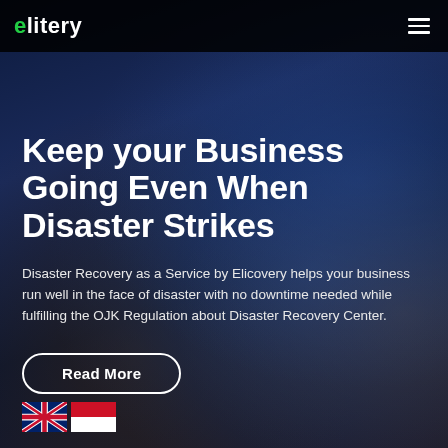elitery
Keep your Business Going Even When Disaster Strikes
Disaster Recovery as a Service by Elicovery helps your business run well in the face of disaster with no downtime needed while fulfilling the OJK Regulation about Disaster Recovery Center.
Read More
[Figure (illustration): Two national flag icons side by side: UK (Union Jack) and Indonesia (red and white bicolor)]